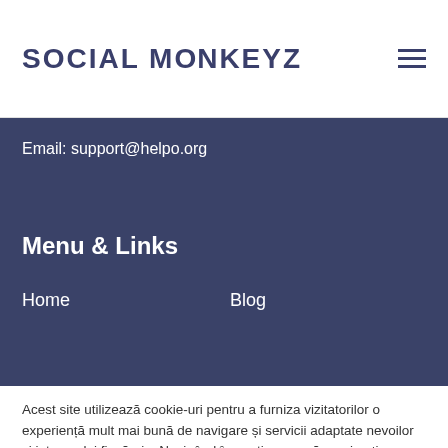SOCIAL MONKEYZ
Email: support@helpo.org
Menu & Links
Home
Blog
Acest site utilizează cookie-uri pentru a furniza vizitatorilor o experiență mult mai bună de navigare și servicii adaptate nevoilor si interesului fiecăruia. Navigând în continuare, vă exprimați acordul asupra folosirii acestora..
Personalizați
Sunt de acord